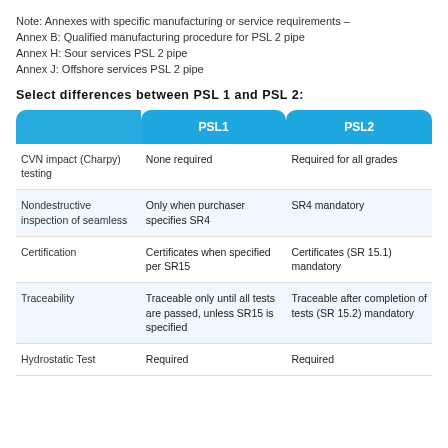Note: Annexes with specific manufacturing or service requirements – Annex B: Qualified manufacturing procedure for PSL 2 pipe Annex H: Sour services PSL 2 pipe Annex J: Offshore services PSL 2 pipe
Select differences between PSL 1 and PSL 2:
|  | PSL1 | PSL2 |
| --- | --- | --- |
| CVN impact (Charpy) testing | None required | Required for all grades |
| Nondestructive inspection of seamless | Only when purchaser specifies SR4 | SR4 mandatory |
| Certification | Certificates when specified per SR15 | Certificates (SR 15.1) mandatory |
| Traceability | Traceable only until all tests are passed, unless SR15 is specified | Traceable after completion of tests (SR 15.2) mandatory |
| Hydrostatic Test | Required | Required |